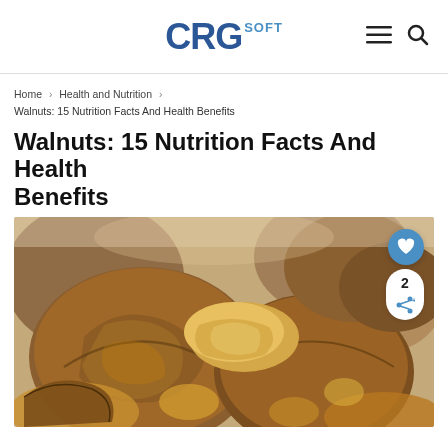CRGsoft
Home › Health and Nutrition › Walnuts: 15 Nutrition Facts And Health Benefits
Walnuts: 15 Nutrition Facts And Health Benefits
[Figure (photo): Close-up photo of walnuts, both whole in shell and shelled walnut pieces, on a light surface. A blue heart/like button and a share button with count '2' are overlaid on the right side of the image.]